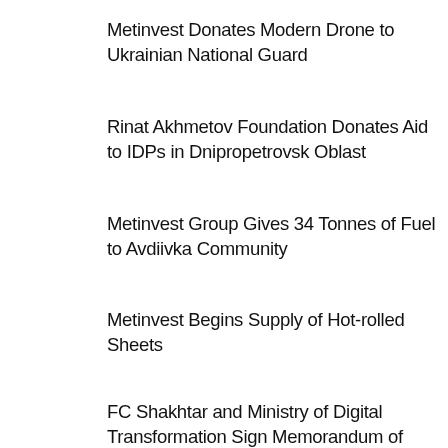Metinvest Donates Modern Drone to Ukrainian National Guard
Rinat Akhmetov Foundation Donates Aid to IDPs in Dnipropetrovsk Oblast
Metinvest Group Gives 34 Tonnes of Fuel to Avdiivka Community
Metinvest Begins Supply of Hot-rolled Sheets
FC Shakhtar and Ministry of Digital Transformation Sign Memorandum of